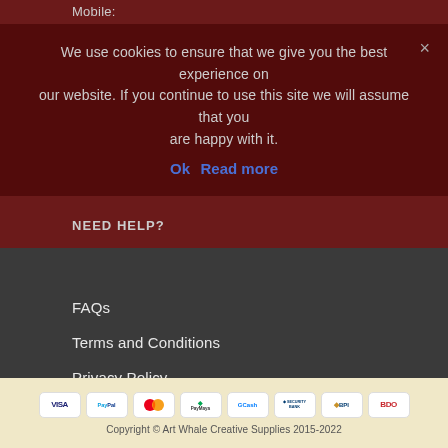Mobile:
We use cookies to ensure that we give you the best experience on our website. If you continue to use this site we will assume that you are happy with it. Ok Read more
NEED HELP?
FAQs
Terms and Conditions
Privacy Policy
Return Policy
Contact Us
[Figure (infographic): Payment method logos: VISA, PayPal, Mastercard, PayMaya, GCash, Security Bank, BPI, BDO]
Copyright © Art Whale Creative Supplies 2015-2022